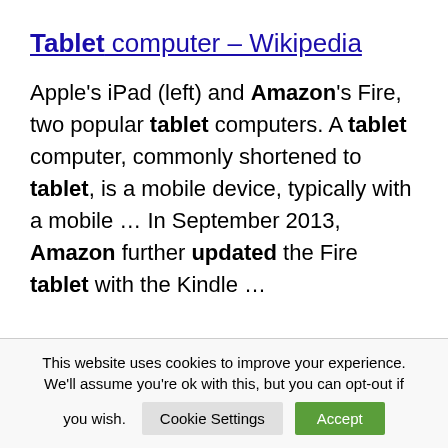Tablet computer – Wikipedia
Apple's iPad (left) and Amazon's Fire, two popular tablet computers. A tablet computer, commonly shortened to tablet, is a mobile device, typically with a mobile … In September 2013, Amazon further updated the Fire tablet with the Kindle …
This website uses cookies to improve your experience. We'll assume you're ok with this, but you can opt-out if you wish.